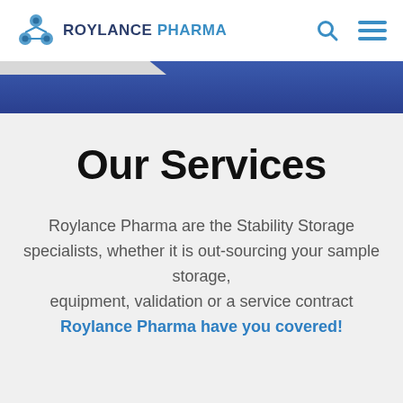ROYLANCE PHARMA
Our Services
Roylance Pharma are the Stability Storage specialists, whether it is out-sourcing your sample storage, equipment, validation or a service contract Roylance Pharma have you covered!